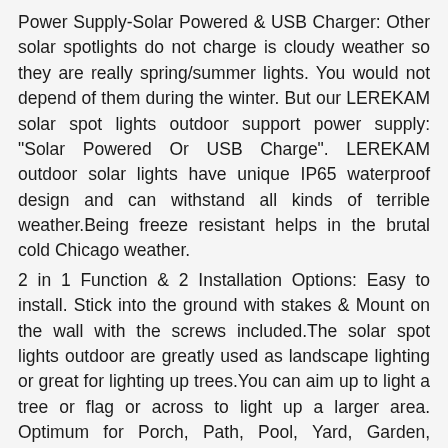Power Supply-Solar Powered & USB Charger: Other solar spotlights do not charge is cloudy weather so they are really spring/summer lights. You would not depend of them during the winter. But our LEREKAM solar spot lights outdoor support power supply: "Solar Powered Or USB Charge". LEREKAM outdoor solar lights have unique IP65 waterproof design and can withstand all kinds of terrible weather.Being freeze resistant helps in the brutal cold Chicago weather.
2 in 1 Function & 2 Installation Options: Easy to install. Stick into the ground with stakes & Mount on the wall with the screws included.The solar spot lights outdoor are greatly used as landscape lighting or great for lighting up trees.You can aim up to light a tree or flag or across to light up a larger area. Optimum for Porch, Path, Pool, Yard, Garden, Garage Driveway, Pathway,etc.Your landscape looks